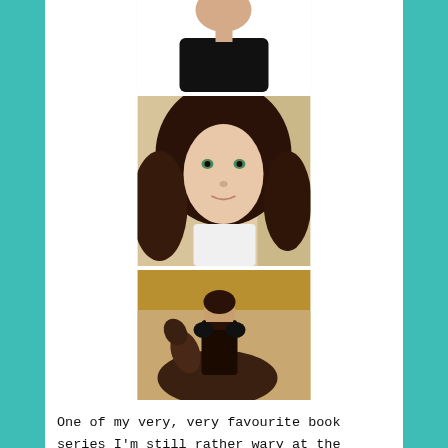[Figure (photo): A person in a black top, upper body portrait, cropped at top]
[Figure (photo): A young woman with long brown wavy hair and green eyes, portrait photo with decorative background]
[Figure (photo): A man in dark leather armor sitting on a horse in a castle-like setting]
One of my very, very favourite book series I'm still rather wary at the concept of it as a film.  Still